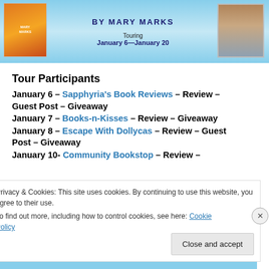[Figure (illustration): Book tour banner with book cover on left, author photo on right, 'BY MARY MARKS' heading in center, 'Touring January 6—January 20' text]
Tour Participants
January 6 – Sapphyria's Book Reviews – Review – Guest Post – Giveaway
January 7 – Books-n-Kisses – Review – Giveaway
January 8 – Escape With Dollycas – Review – Guest Post – Giveaway
January 10- Community Bookstop – Review –
Privacy & Cookies: This site uses cookies. By continuing to use this website, you agree to their use. To find out more, including how to control cookies, see here: Cookie Policy